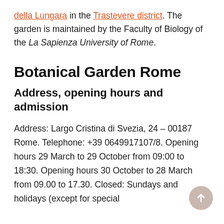della Lungara in the Trastevere district. The garden is maintained by the Faculty of Biology of the La Sapienza University of Rome.
Botanical Garden Rome
Address, opening hours and admission
Address: Largo Cristina di Svezia, 24 – 00187 Rome. Telephone: +39 0649917107/8. Opening hours 29 March to 29 October from 09:00 to 18:30. Opening hours 30 October to 28 March from 09.00 to 17.30. Closed: Sundays and holidays (except for special